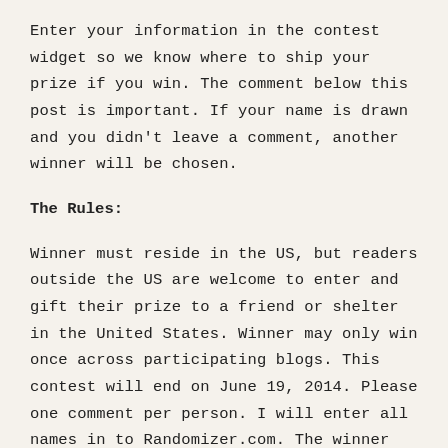Enter your information in the contest widget so we know where to ship your prize if you win. The comment below this post is important. If your name is drawn and you didn't leave a comment, another winner will be chosen.
The Rules:
Winner must reside in the US, but readers outside the US are welcome to enter and gift their prize to a friend or shelter in the United States. Winner may only win once across participating blogs. This contest will end on June 19, 2014. Please one comment per person. I will enter all names in to Randomizer.com. The winner will be notified by email or through